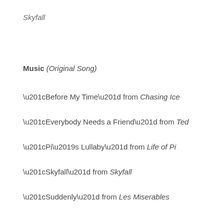Skyfall
Music (Original Song)
“Before My Time” from Chasing Ice
“Everybody Needs a Friend” from Ted
“Pi’s Lullaby” from Life of Pi
“Skyfall” from Skyfall
“Suddenly” from Les Miserables